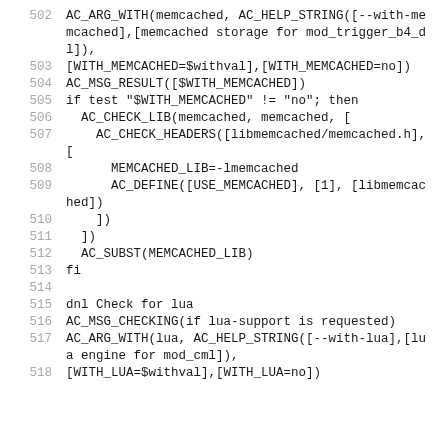Code listing lines 502-518, autoconf/configure.ac style script for checking memcached and lua libraries
502: AC_ARG_WITH(memcached, AC_HELP_STRING([--with-memcached],[memcached storage for mod_trigger_b4_dl]),
503: [WITH_MEMCACHED=$withval],[WITH_MEMCACHED=no])
504: AC_MSG_RESULT([$WITH_MEMCACHED])
505: if test "$WITH_MEMCACHED" != "no"; then
506:   AC_CHECK_LIB(memcached, memcached, [
507:     AC_CHECK_HEADERS([libmemcached/memcached.h], [
508:       MEMCACHED_LIB=-lmemcached
509:       AC_DEFINE([USE_MEMCACHED], [1], [libmemcached])
510:     ])
511:   ])
512:   AC_SUBST(MEMCACHED_LIB)
513: fi
514: (empty)
515: dnl Check for lua
516: AC_MSG_CHECKING(if lua-support is requested)
517: AC_ARG_WITH(lua, AC_HELP_STRING([--with-lua],[lua engine for mod_cml]),
518: [WITH_LUA=$withval],[WITH_LUA=no])